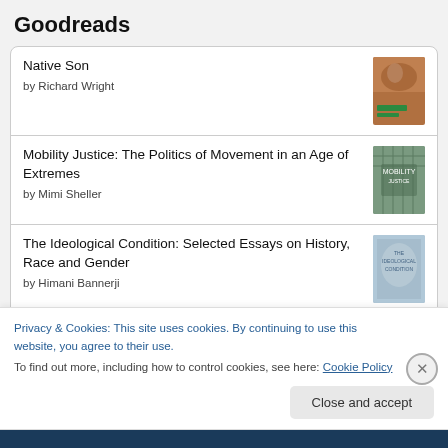Goodreads
Native Son by Richard Wright
Mobility Justice: The Politics of Movement in an Age of Extremes by Mimi Sheller
The Ideological Condition: Selected Essays on History, Race and Gender by Himani Bannerji
The Unity of the Capitalist Economy and State: A Systematic-
Privacy & Cookies: This site uses cookies. By continuing to use this website, you agree to their use.
To find out more, including how to control cookies, see here: Cookie Policy